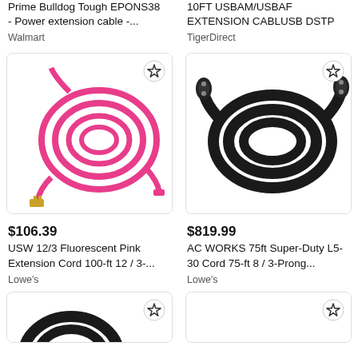Prime Bulldog Tough EPONS38 - Power extension cable -...
Walmart
10FT USBAM/USBAF EXTENSION CABLUSB DSTP
TigerDirect
[Figure (photo): Coiled fluorescent pink extension cord with gold-colored plug ends]
[Figure (photo): Coiled black heavy-duty extension cord with locking plug connectors]
$106.39
USW 12/3 Fluorescent Pink Extension Cord 100-ft 12 / 3-...
Lowe's
$819.99
AC WORKS 75ft Super-Duty L5-30 Cord 75-ft 8 / 3-Prong...
Lowe's
[Figure (photo): Partial view of a black coiled cable/cord, bottom of page cropped]
[Figure (photo): Empty product image card with star/bookmark icon, bottom of page cropped]